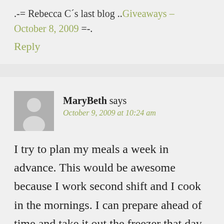.-= Rebecca C´s last blog ..Giveaways – October 8, 2009 =-.
Reply
MaryBeth says
October 9, 2009 at 10:24 am
I try to plan my meals a week in advance. This would be awesome because I work second shift and I cook in the mornings. I can prepare ahead of time and take it out the freezer that day.